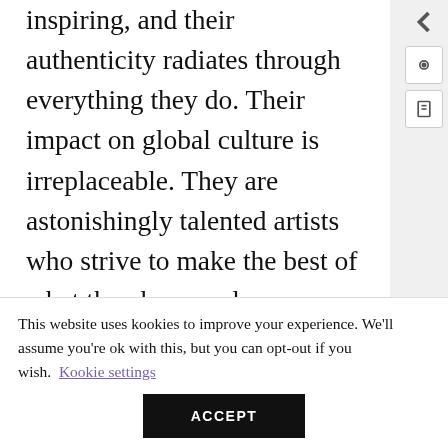inspiring, and their authenticity radiates through everything they do. Their impact on global culture is irreplaceable. They are astonishingly talented artists who strive to make the best of what they have and never stop running towards their dreams, not to mention they are incredible dancers and breathtakingly good looking (that is just a bonus, of course). They never become complacent, and I think ARMY are like that too — we learnt it from the best, after all. The way they love us and each other is so beautiful that I don't think a bond like this could ever exist again, and it
This website uses kookies to improve your experience. We'll assume you're ok with this, but you can opt-out if you wish. Kookie settings
ACCEPT